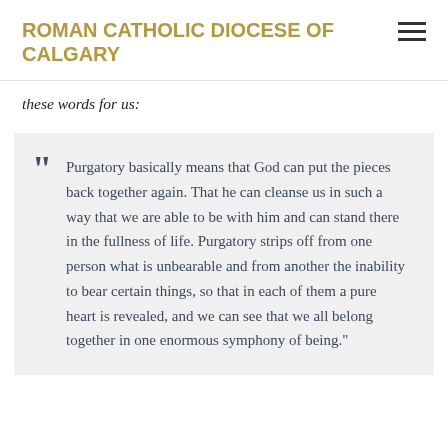ROMAN CATHOLIC DIOCESE OF CALGARY
these words for us:
"Purgatory basically means that God can put the pieces back together again. That he can cleanse us in such a way that we are able to be with him and can stand there in the fullness of life. Purgatory strips off from one person what is unbearable and from another the inability to bear certain things, so that in each of them a pure heart is revealed, and we can see that we all belong together in one enormous symphony of being."